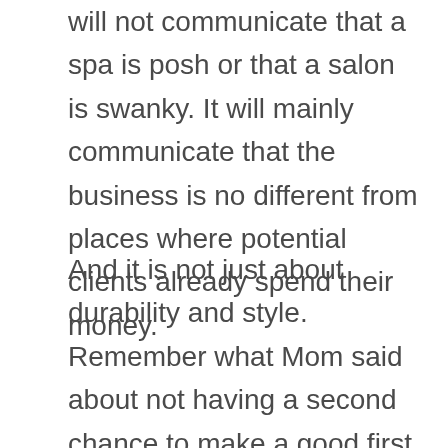will not communicate that a spa is posh or that a salon is swanky. It will mainly communicate that the business is no different from places where potential clients already spend their money.
And it is not just about durability and style. Remember what Mom said about not having a second chance to make a good first impression? Often the very first interaction a customer has with a company is the reading of a typographic message. Whether it is a national advertisement or the sign hanging on the front door, this initial...